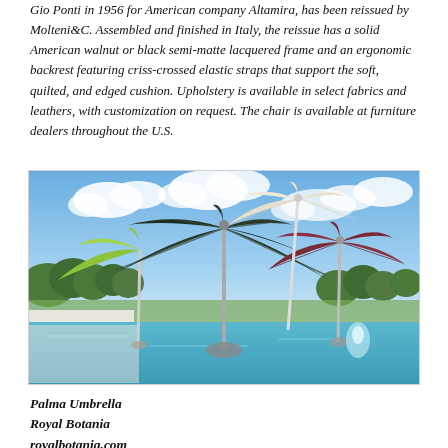Gio Ponti in 1956 for American company Altamira, has been reissued by Molteni&C. Assembled and finished in Italy, the reissue has a solid American walnut or black semi-matte lacquered frame and an ergonomic backrest featuring criss-crossed elastic straps that support the soft, quilted, and edged cushion. Upholstery is available in select fabrics and leathers, with customization on request. The chair is available at furniture dealers throughout the U.S.
[Figure (photo): Outdoor photo showing three large garden umbrellas (green, dark/black, and burgundy/wine colored) near a swimming pool with a blue sky and trees in the background. White modern steps visible on the left.]
Palma Umbrella
Royal Botania
royalbotania.com
The mechanics of the Palma automatic garden umbrella are